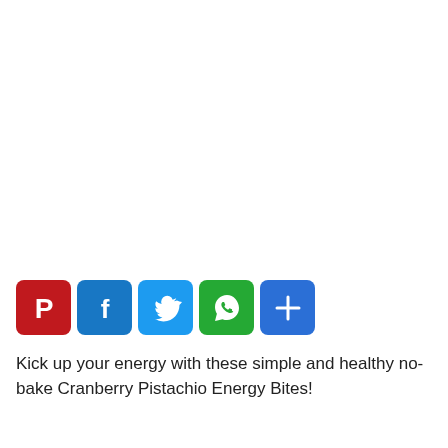[Figure (infographic): Five social share buttons in a row: Pinterest (red), Facebook (blue), Twitter (light blue), WhatsApp (green), Share/More (blue)]
Kick up your energy with these simple and healthy no-bake Cranberry Pistachio Energy Bites!